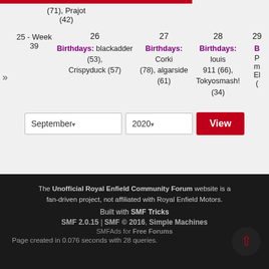| 25 - Week 39 | 26 | 27 | 28 | 29 |
| --- | --- | --- | --- | --- |
| » | Birthdays: blackadder (53), Crispyduck (57) | Birthdays: Corki (78), algarside (61) | Birthdays: louis 911 (66), Tokyosmash! (34) | B... P... m... El... ( |
(71), Prajot (42)
September 2020 View
The Unofficial Royal Enfield Community Forum website is a fan-driven project, not affiliated with Royal Enfield Motors. Built with SMF Tricks
SMF 2.0.15 | SMF © 2016, Simple Machines
SMFAds for Free Forums
Page created in 0.076 seconds with 28 queries.